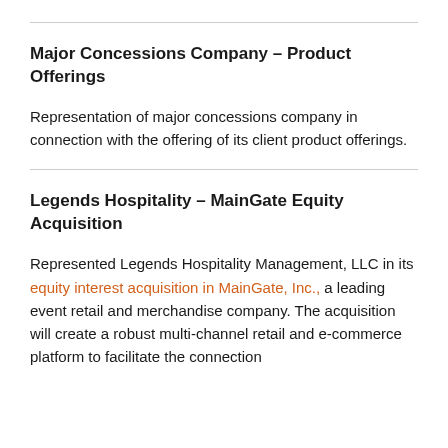Major Concessions Company – Product Offerings
Representation of major concessions company in connection with the offering of its client product offerings.
Legends Hospitality – MainGate Equity Acquisition
Represented Legends Hospitality Management, LLC in its equity interest acquisition in MainGate, Inc., a leading event retail and merchandise company. The acquisition will create a robust multi-channel retail and e-commerce platform to facilitate the connection